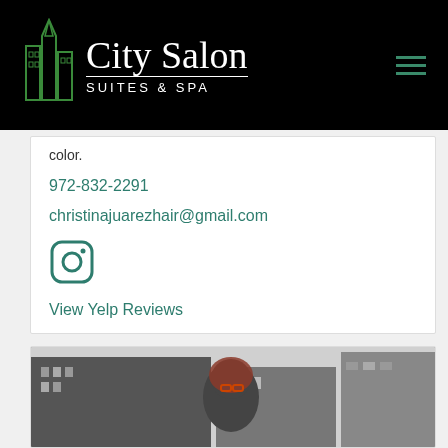[Figure (logo): City Salon Suites & Spa logo with green geometric building icon and white cursive/sans-serif text on black background, with green hamburger menu icon on right]
color.
972-832-2291
christinajuarezhair@gmail.com
[Figure (illustration): Instagram icon (rounded square with camera outline) in teal/green color]
View Yelp Reviews
[Figure (photo): Black and white urban street photo with a woman with red hair and glasses in the foreground, city buildings in background]